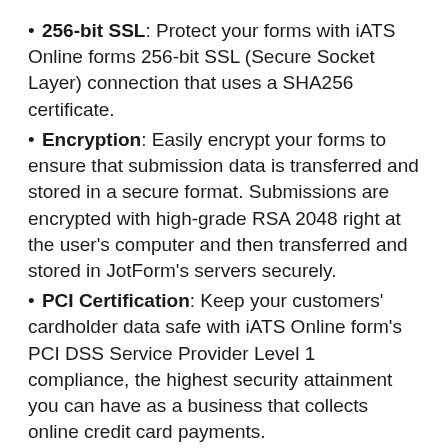256-bit SSL: Protect your forms with iATS Online forms 256-bit SSL (Secure Socket Layer) connection that uses a SHA256 certificate.
Encryption: Easily encrypt your forms to ensure that submission data is transferred and stored in a secure format. Submissions are encrypted with high-grade RSA 2048 right at the user’s computer and then transferred and stored in JotForm’s servers securely.
PCI Certification: Keep your customers’ cardholder data safe with iATS Online form’s PCI DSS Service Provider Level 1 compliance, the highest security attainment you can have as a business that collects online credit card payments.
GDPR Compliant: Stay fully compliant with the European Union’s General Data Protection Regulation (GDPR) requirements. This regulation applies to any business that collects data in or from Europe.